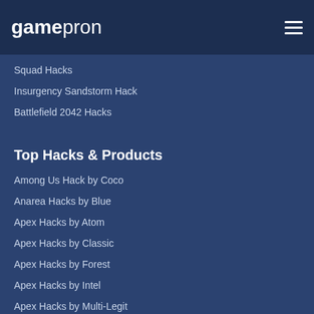gamepron
Squad Hacks
Insurgency Sandstorm Hack
Battlefield 2042 Hacks
Top Hacks & Products
Among Us Hack by Coco
Anarea Hacks by Blue
Apex Hacks by Atom
Apex Hacks by Classic
Apex Hacks by Forest
Apex Hacks by Intel
Apex Hacks by Multi-Legit
Battlefield 5 Hacks by Intel